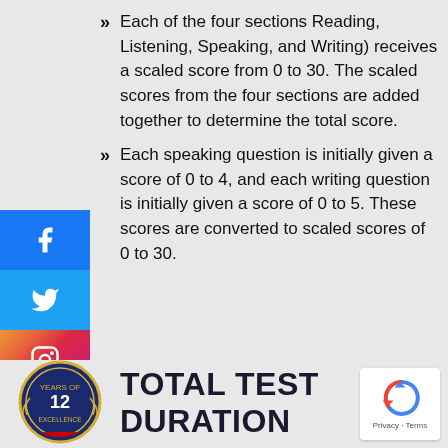Each of the four sections Reading, Listening, Speaking, and Writing) receives a scaled score from 0 to 30. The scaled scores from the four sections are added together to determine the total score.
Each speaking question is initially given a score of 0 to 4, and each writing question is initially given a score of 0 to 5. These scores are converted to scaled scores of 0 to 30.
TOTAL TEST DURATION